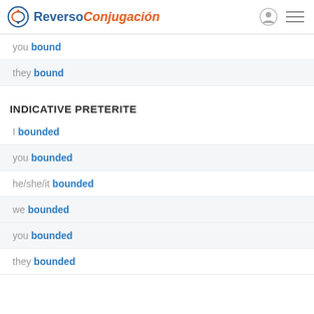Reverso Conjugación
you bound
they bound
INDICATIVE PRETERITE
I bounded
you bounded
he/she/it bounded
we bounded
you bounded
they bounded